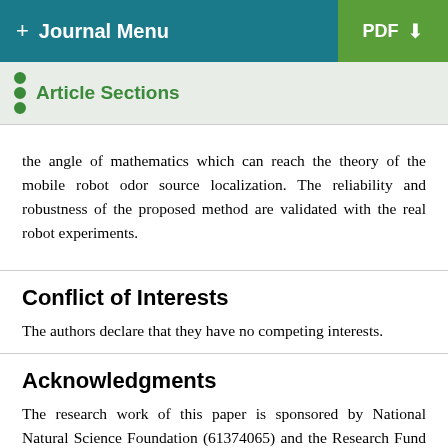+ Journal Menu | PDF
Article Sections
the angle of mathematics which can reach the theory of the mobile robot odor source localization. The reliability and robustness of the proposed method are validated with the real robot experiments.
Conflict of Interests
The authors declare that they have no competing interests.
Acknowledgments
The research work of this paper is sponsored by National Natural Science Foundation (61374065) and the Research Fund for the Taishan Scholar Project of Shandong Province of China.